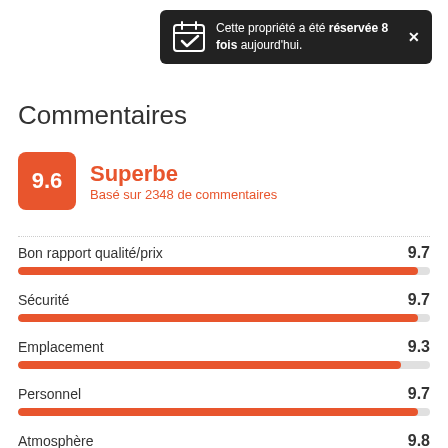Cette propriété a été réservée 8 fois aujourd'hui.
Commentaires
9.6 Superbe
Basé sur 2348 de commentaires
[Figure (bar-chart): Ratings]